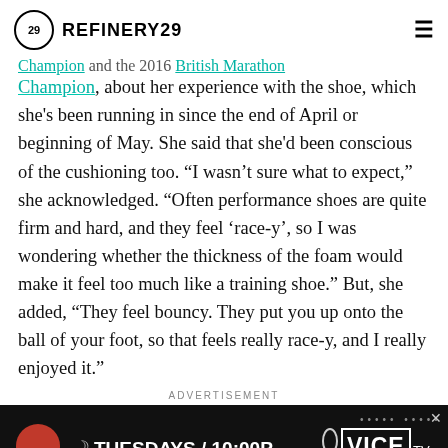REFINERY29
Champion, about her experience with the shoe, which she's been running in since the end of April or beginning of May. She said that she'd been conscious of the cushioning too. "I wasn't sure what to expect," she acknowledged. "Often performance shoes are quite firm and hard, and they feel 'race-y', so I was wondering whether the thickness of the foam would make it feel too much like a training shoe." But, she added, "They feel bouncy. They put you up onto the ball of your foot, so that feels really race-y, and I really enjoyed it."
ADVERTISEMENT
[Figure (other): Advertisement banner for VICE TV showing TUESDAYS / 10:00P with Vice TV logo on black background]